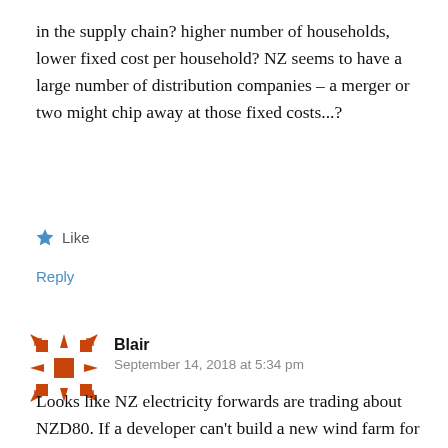in the supply chain? higher number of households, lower fixed cost per household? NZ seems to have a large number of distribution companies – a merger or two might chip away at those fixed costs...?
Like
Reply
Blair
September 14, 2018 at 5:34 pm
Looks like NZ electricity forwards are trading about NZD80. If a developer can't build a new wind farm for less than that something is very wrong.